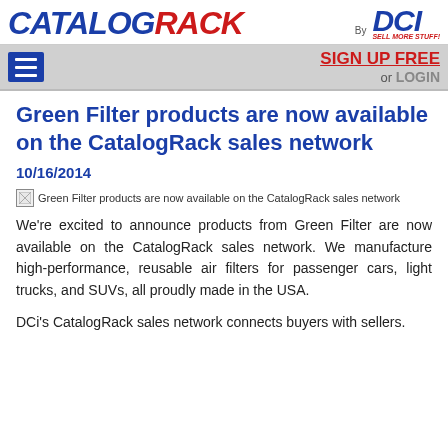CatalogRack by DCI — SIGN UP FREE or LOGIN
Green Filter products are now available on the CatalogRack sales network
10/16/2014
[Figure (photo): Broken image placeholder: Green Filter products are now available on the CatalogRack sales network]
We're excited to announce products from Green Filter are now available on the CatalogRack sales network. We manufacture high-performance, reusable air filters for passenger cars, light trucks, and SUVs, all proudly made in the USA.
DCi's CatalogRack sales network connects buyers with sellers.